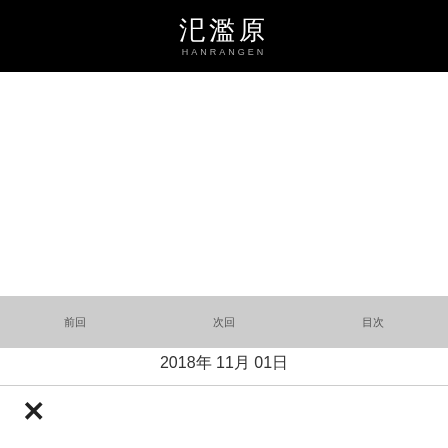汜濫原 HANRANGEN
前回　　　次回　　　目次
2018年 11月 01日
[Figure (other): Close/delete X button icon in black]